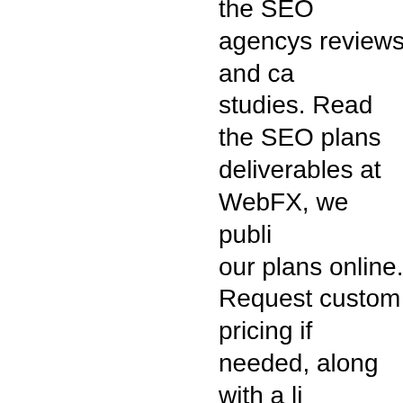the SEO agencys reviews and case studies. Read the SEO plans deliverables at WebFX, we publish our plans online. Request custom pricing if needed, along with a list of deliverables. Check for any fine print, like for additional charges or fees. For even more information on how to choose SEO plans, check out our SEO agency hiring guide. Need help with your SEO, marketing manager? Check out our SEO Guide for Marketing Managers to start driving more site traffic, leads and revenue! View the Guide. Can I do SEO on my own vs. buying SEO services? The reason businesses opt to invest in SEO services is to.: Access SEO-specific expertise. Expedite implementation times for SEO action items. Improve rankings and returns for high-competition keywords. If youre looking to do SEO on your own, check out our DIY SEO guide. I...